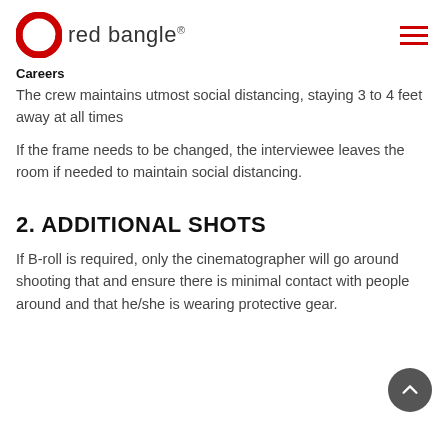red bangle®
Careers
The crew maintains utmost social distancing, staying 3 to 4 feet away at all times
If the frame needs to be changed, the interviewee leaves the room if needed to maintain social distancing.
2. ADDITIONAL SHOTS
If B-roll is required, only the cinematographer will go around shooting that and ensure there is minimal contact with people around and that he/she is wearing protective gear.